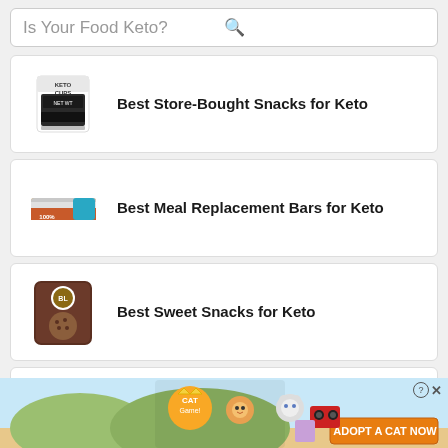[Figure (screenshot): Search bar with text 'Is Your Food Keto?' and a search icon]
Best Store-Bought Snacks for Keto
Best Meal Replacement Bars for Keto
Best Sweet Snacks for Keto
Best Jerky Brands for Keto
[Figure (illustration): Ad banner showing Cat Game with cartoon cats and 'ADOPT A CAT NOW' text]